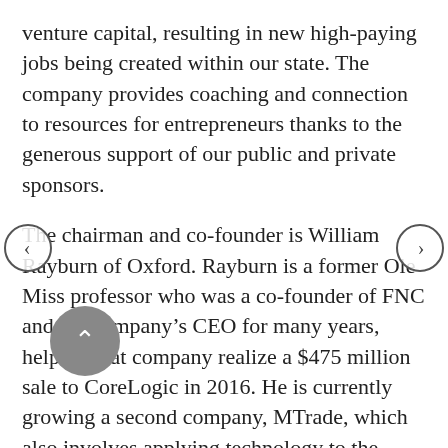venture capital, resulting in new high-paying jobs being created within our state. The company provides coaching and connection to resources for entrepreneurs thanks to the generous support of our public and private sponsors.
The chairman and co-founder is William Rayburn of Oxford. Rayburn is a former Ole Miss professor who was a co-founder of FNC and the company's CEO for many years, helping that company realize a $475 million sale to CoreLogic in 2016. He is currently growing a second company, MTrade, which also involves applying technology to the home mortgage industry.
Addressing the crowd of 500 or so, Rayburn said, “Innovate Mississippi is a public-private partnership